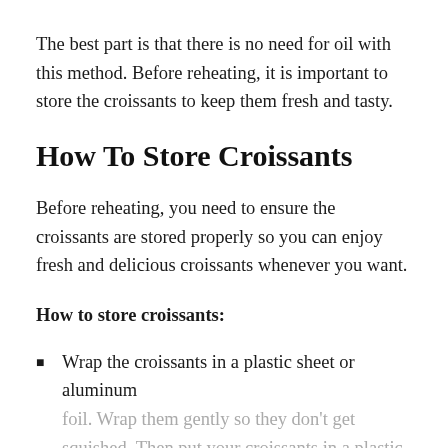The best part is that there is no need for oil with this method. Before reheating, it is important to store the croissants to keep them fresh and tasty.
How To Store Croissants
Before reheating, you need to ensure the croissants are stored properly so you can enjoy fresh and delicious croissants whenever you want.
How to store croissants:
Wrap the croissants in a plastic sheet or aluminum foil. Wrap them gently so they don't get squished. Then put your croissants in a plastic bag or